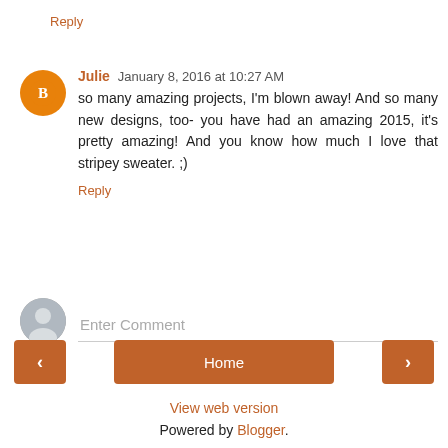Reply
Julie  January 8, 2016 at 10:27 AM
so many amazing projects, I'm blown away! And so many new designs, too- you have had an amazing 2015, it's pretty amazing! And you know how much I love that stripey sweater. ;)
Reply
Enter Comment
Home
View web version
Powered by Blogger.